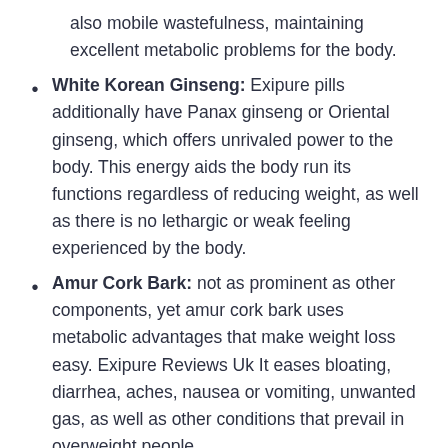also mobile wastefulness, maintaining excellent metabolic problems for the body.
White Korean Ginseng: Exipure pills additionally have Panax ginseng or Oriental ginseng, which offers unrivaled power to the body. This energy aids the body run its functions regardless of reducing weight, as well as there is no lethargic or weak feeling experienced by the body.
Amur Cork Bark: not as prominent as other components, yet amur cork bark uses metabolic advantages that make weight loss easy. Exipure Reviews Uk It eases bloating, diarrhea, aches, nausea or vomiting, unwanted gas, as well as other conditions that prevail in overweight people.
Quercetin: Following on this list is quercetin,